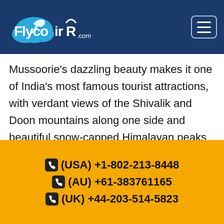FlycoAir.com
Mussoorie's dazzling beauty makes it one of India's most famous tourist attractions, with verdant views of the Shivalik and Doon mountains along one side and beautiful snow-capped Himalayan peaks on another.
Mussoorie not only appeals to nature enthusiasts but also to religious pilgrims. In addition, Mussoorie is a wonderful summer resort for vacationers and honeymooners since it's a
(USA) +1-802-213-8448 (AU) +61-383761165 (UK) +44-203-514-5823